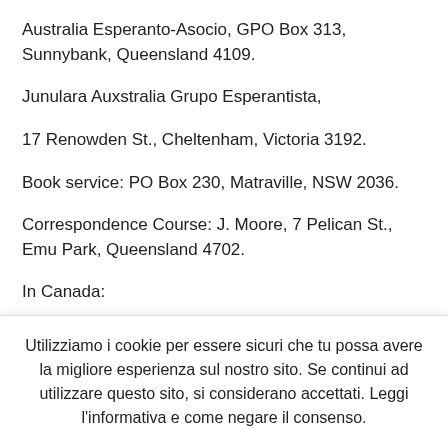Australia Esperanto-Asocio, GPO Box 313, Sunnybank, Queensland 4109.
Junulara Auxstralia Grupo Esperantista,
17 Renowden St., Cheltenham, Victoria 3192.
Book service: PO Box 230, Matraville, NSW 2036.
Correspondence Course: J. Moore, 7 Pelican St., Emu Park, Queensland 4702.
In Canada:
Utilizziamo i cookie per essere sicuri che tu possa avere la migliore esperienza sul nostro sito. Se continui ad utilizzare questo sito, si considerano accettati. Leggi l’informativa e come negare il consenso.